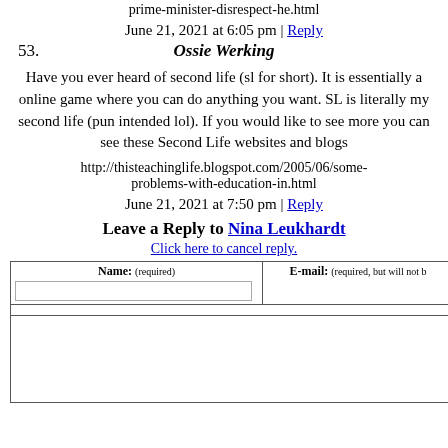prime-minister-disrespect-he.html
June 21, 2021 at 6:05 pm | Reply
53. Ossie Werking
Have you ever heard of second life (sl for short). It is essentially a online game where you can do anything you want. SL is literally my second life (pun intended lol). If you would like to see more you can see these Second Life websites and blogs
http://thisteachinglife.blogspot.com/2005/06/some-problems-with-education-in.html
June 21, 2021 at 7:50 pm | Reply
Leave a Reply to Nina Leukhardt
Click here to cancel reply.
| Name: (required) | E-mail: (required, but will not be...) |
| --- | --- |
|  |  |